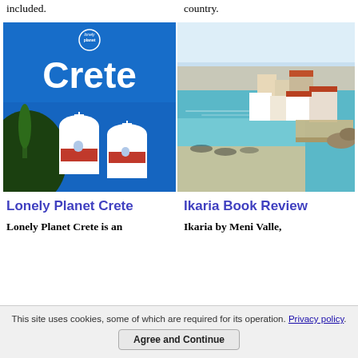included.
country.
[Figure (illustration): Lonely Planet Crete book cover with blue background, white church domes with red tile roofs, a cypress tree, and 'lonely planet' logo at top with 'Crete' in large white text.]
[Figure (photo): Aerial/elevated photo of a Greek island coastal town (Ikaria) showing white and terracotta buildings along a turquoise sea bay with a pier, under a clear sky.]
Lonely Planet Crete
Ikaria Book Review
Lonely Planet Crete is an
Ikaria by Meni Valle,
This site uses cookies, some of which are required for its operation. Privacy policy.
Agree and Continue